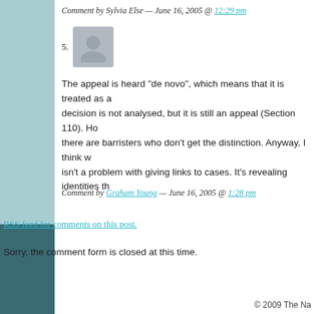Comment by Sylvia Else — June 16, 2005 @ 12:29 pm
[Figure (illustration): User avatar placeholder icon (grey silhouette), numbered list item 5]
The appeal is heard “de novo”, which means that it is treated as a new decision is not analysed, but it is still an appeal (Section 110). How there are barristers who don’t get the distinction. Anyway, I think w isn't a problem with giving links to cases. It's revealing identities th
Comment by Graham Young — June 16, 2005 @ 1:28 pm
RSS feed for comments on this post.
Sorry, the comment form is closed at this time.
© 2009 The Na